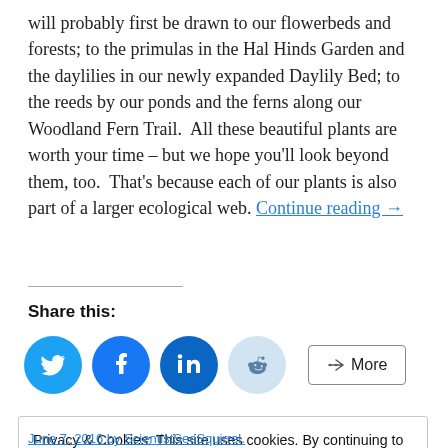will probably first be drawn to our flowerbeds and forests; to the primulas in the Hal Hinds Garden and the daylilies in our newly expanded Daylily Bed; to the reeds by our ponds and the ferns along our Woodland Fern Trail.  All these beautiful plants are worth your time – but we hope you'll look beyond them, too.  That's because each of our plants is also part of a larger ecological web. Continue reading →
Share this:
[Figure (other): Social share icons: Twitter (blue circle), Facebook (blue circle), LinkedIn (blue circle), Reddit (light blue circle), More button]
Privacy & Cookies: This site uses cookies. By continuing to use this website, you agree to their use.
To find out more, including how to control cookies, see here: Cookie Policy
Close and accept
June 7, 2016 by ScientistSeeSquirrel.